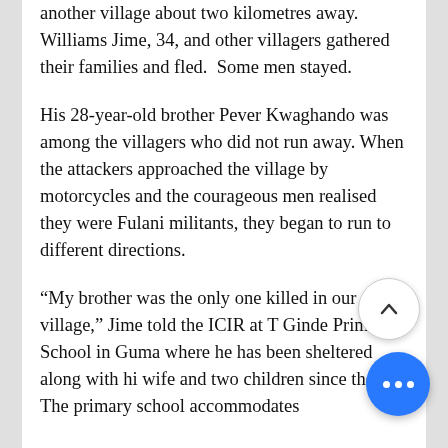another village about two kilometres away.  Williams Jime, 34, and other villagers gathered their families and fled.  Some men stayed.
His 28-year-old brother Pever Kwaghando was among the villagers who did not run away. When the attackers approached the village by motorcycles and the courageous men realised they were Fulani militants, they began to run to different directions.
“My brother was the only one killed in our village,” Jime told the ICIR at T Ginde Primary School in Guma where he has been sheltered along with his wife and two children since the a The primary school accommodates